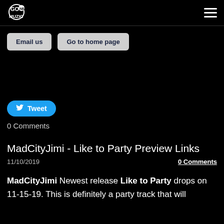GO NE MUZIC
Email us
Go to home page
Tweet
0 Comments
MadCityJimi - Like to Party Preview Links
11/10/2019     0 Comments
MadCityJimi Newest release Like to Party drops on 11-15-19. This is definitely a party track that will